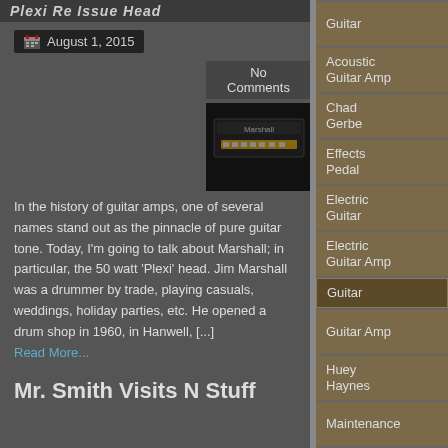Plexi Re Issue Head
August 1, 2015
No Comments
[Figure (photo): Marshall guitar amp head, black with gold panel]
In the history of guitar amps, one of several names stand out as the pinnacle of pure guitar tone. Today, I'm going to talk about Marshall; in particular, the 50 watt 'Plexi' head. Jim Marshall was a drummer by trade, playing casuals, weddings, holiday parties, etc. He opened a drum shop in 1960, in Hanwell, [...]
Read More...
Mr. Smith Visits N Stuff
Guitar
Acoustic Guitar Amp
Chad Gerbe
Effects Pedal
Electric Guitar
Electric Guitar Amp
Guitar
Guitar Amp
Huey Haynes
Maintenance